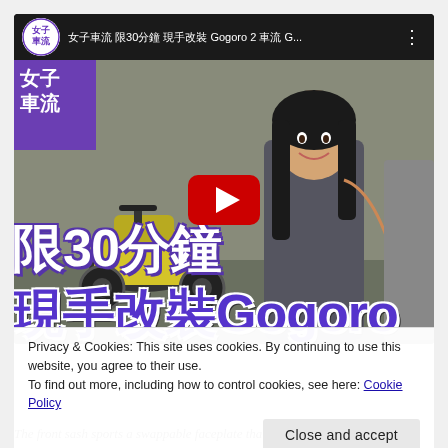[Figure (screenshot): Screenshot of a YouTube video embed showing a Taiwanese woman standing next to a Gogoro 2 electric scooter. The video title bar shows the channel '女子車流' and title text including '30' and 'Gogoro 2'. Large purple and white Chinese text overlays read '限30分鐘' and '現手改裝Gogoro'. A red YouTube play button is centered on the video thumbnail.]
Privacy & Cookies: This site uses cookies. By continuing to use this website, you agree to their use.
To find out more, including how to control cookies, see here: Cookie Policy
Close and accept
The front sash sports a swappable faceplate that the